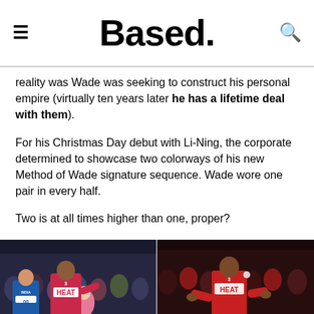Based.
reality was Wade was seeking to construct his personal empire (virtually ten years later he has a lifetime deal with them).
For his Christmas Day debut with Li-Ning, the corporate determined to showcase two colorways of his new Method of Wade signature sequence. Wade wore one pair in every half.
Two is at all times higher than one, proper?
[Figure (photo): Two side-by-side basketball game photos of Dwyane Wade in Miami Heat #3 red uniform, one showing him driving against a player in blue Indiana uniform, another showing him in an all-red Heat uniform during a game]